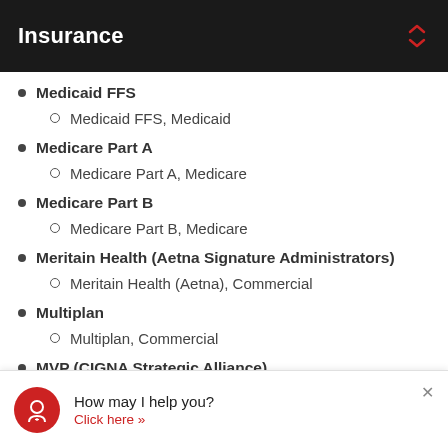Insurance
Medicaid FFS
Medicaid FFS, Medicaid
Medicare Part A
Medicare Part A, Medicare
Medicare Part B
Medicare Part B, Medicare
Meritain Health (Aetna Signature Administrators)
Meritain Health (Aetna), Commercial
Multiplan
Multiplan, Commercial
MVP (CIGNA Strategic Alliance)
MVP (CIGNA Strategic Alliance), OAP/PPO
How may I help you? Click here >>